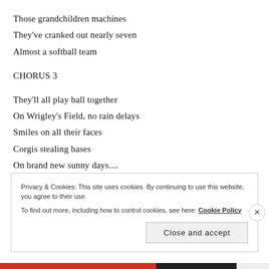Those grandchildren machines
They've cranked out nearly seven
Almost a softball team
CHORUS 3
They'll all play ball together
On Wrigley's Field, no rain delays
Smiles on all their faces
Corgis stealing bases
On brand new sunny days....
Privacy & Cookies: This site uses cookies. By continuing to use this website, you agree to their use. To find out more, including how to control cookies, see here: Cookie Policy
Close and accept